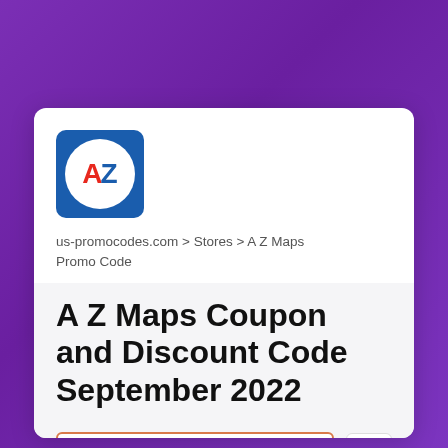[Figure (logo): A Z Maps logo: blue square with white circle containing red A and blue Z letters]
us-promocodes.com > Stores > A Z Maps Promo Code
A Z Maps Coupon and Discount Code September 2022
Continue to az.co.uk